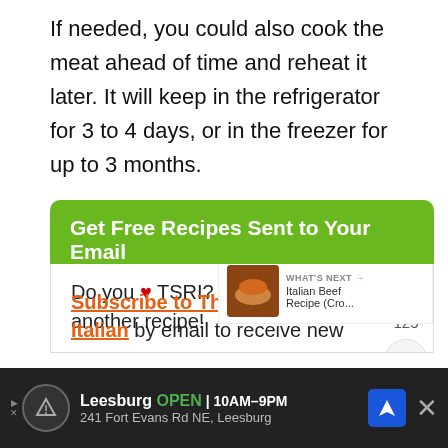If needed, you could also cook the meat ahead of time and reheat it later. It will keep in the refrigerator for 3 to 4 days, or in the freezer for up to 3 months.
Get Free Recipes Sent to Your Email
Do you ♥ TSRI? Don't miss another recipe!
Subscribe to The Slow Roasted Italian by email to receive new
[Figure (screenshot): WHAT'S NEXT arrow panel showing Italian Beef Recipe (Cro... thumbnail]
[Figure (infographic): Advertisement bar: Leesburg OPEN 10AM-9PM, 241 Fort Evans Rd NE, Leesburg with navigation icons]